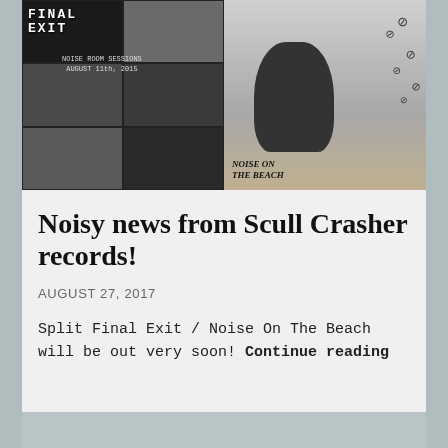[Figure (photo): Two black and white album covers side by side. Left: Final Exit – Noise Room Sessions August 11th, 2015, collage grid of band photos. Right: Noise On The Beach, person sitting on beach with anarchy symbols floating above.]
Noisy news from Scull Crasher records!
AUGUST 27, 2017
Split Final Exit / Noise On The Beach will be out very soon! Continue reading